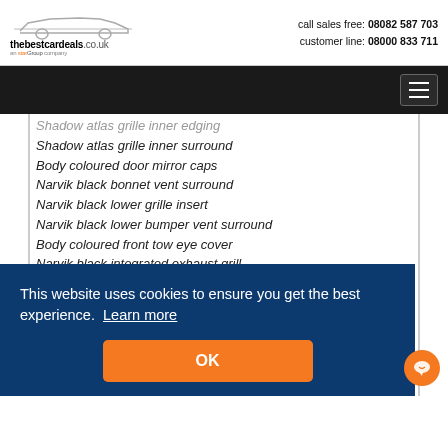thebestcardeals.co.uk | call sales free: 08082 587 703 | customer line: 08000 833 711
Shadow atlas grille inner edging
Shadow atlas grille inner surround
Body coloured door mirror caps
Narvik black bonnet vent surround
Narvik black lower grille insert
Narvik black lower bumper vent surround
Body coloured front tow eye cover
Narvik black integrated exhaust grill
Burnished copper bonnet vent insert
Burnished copper lower bumper vent inserts/blades
This website uses cookies to ensure you get the best experience. Learn more
OK